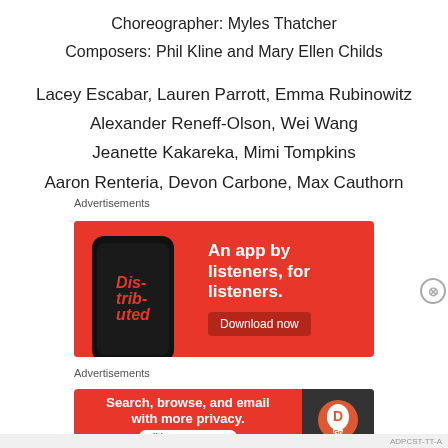Choreographer: Myles Thatcher
Composers: Phil Kline and Mary Ellen Childs
Lacey Escabar, Lauren Parrott, Emma Rubinowitz
Alexander Reneff-Olson, Wei Wang
Jeanette Kakareka, Mimi Tompkins
Aaron Renteria, Devon Carbone, Max Cauthorn
Advertisements
[Figure (other): Red advertisement banner for a podcast app showing a phone with 'Distributed' text and tagline 'An app by listeners, for listeners.' with a Download now button]
Advertisements
[Figure (other): Red DuckDuckGo advertisement banner: 'Search, browse, and email with more privacy. All in One Free App']